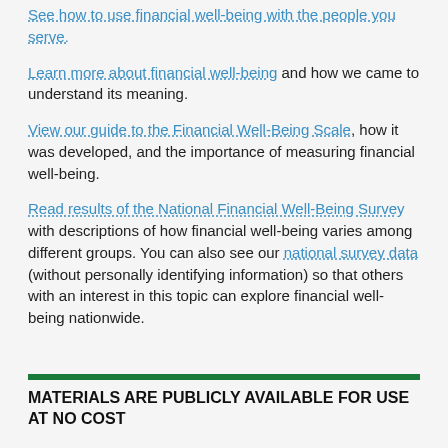See how to use financial well-being with the people you serve.
Learn more about financial well-being and how we came to understand its meaning.
View our guide to the Financial Well-Being Scale, how it was developed, and the importance of measuring financial well-being.
Read results of the National Financial Well-Being Survey with descriptions of how financial well-being varies among different groups. You can also see our national survey data (without personally identifying information) so that others with an interest in this topic can explore financial well-being nationwide.
MATERIALS ARE PUBLICLY AVAILABLE FOR USE AT NO COST